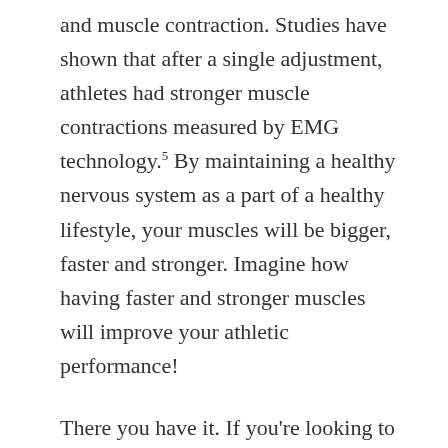and muscle contraction. Studies have shown that after a single adjustment, athletes had stronger muscle contractions measured by EMG technology.5 By maintaining a healthy nervous system as a part of a healthy lifestyle, your muscles will be bigger, faster and stronger. Imagine how having faster and stronger muscles will improve your athletic performance!
There you have it. If you're looking to increase marathon performance, or any other athletic activity, adequate amounts of sleep and chiropractic care are two things you can implement immediately. To find a provider near you, click here. Good luck on your training endeavors!